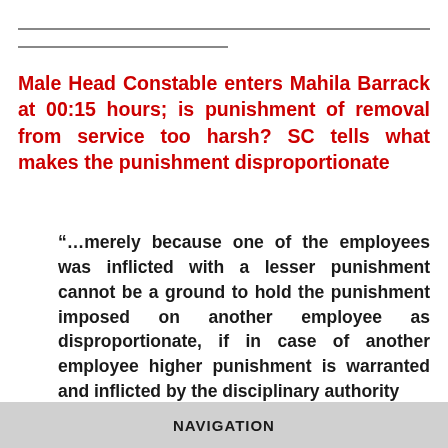Male Head Constable enters Mahila Barrack at 00:15 hours; is punishment of removal from service too harsh? SC tells what makes the punishment disproportionate
“…merely because one of the employees was inflicted with a lesser punishment cannot be a ground to hold the punishment imposed on another employee as disproportionate, if in case of another employee higher punishment is warranted and inflicted by the disciplinary authority
NAVIGATION